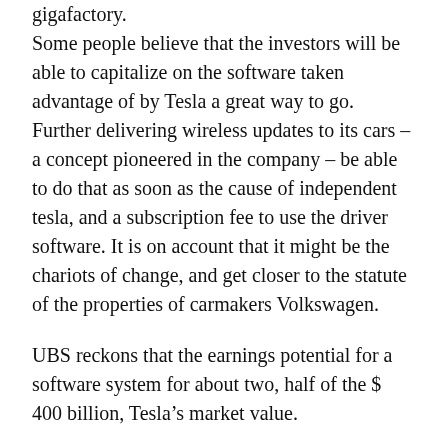gigafactory. Some people believe that the investors will be able to capitalize on the software taken advantage of by Tesla a great way to go. Further delivering wireless updates to its cars – a concept pioneered in the company – be able to do that as soon as the cause of independent tesla, and a subscription fee to use the driver software. It is on account that it might be the chariots of change, and get closer to the statute of the properties of carmakers Volkswagen.
UBS reckons that the earnings potential for a software system for about two, half of the $ 400 billion, Tesla's market value.
“We think the lion’s share of this [$400 billion in] value can be generated by various software, especially the autonomous driving. With this, Tesla has the potential to become one of the most valuable software companies,